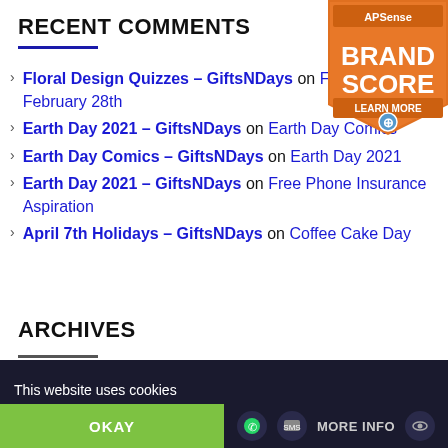RECENT COMMENTS
[Figure (logo): APSense Brand Score badge - orange shield shaped badge with text APSense BRAND SCORE LEARN MORE]
Floral Design Quizzes – GiftsNDays on Floral Day February 28th
Earth Day 2021 – GiftsNDays on Earth Day Comics
Earth Day Comics – GiftsNDays on Earth Day 2021
Earth Day 2021 – GiftsNDays on Free Phone Insurance Aspiration
April 7th Holidays – GiftsNDays on Coffee Cake Day
ARCHIVES
This website uses cookies
OKAY | MORE INFO